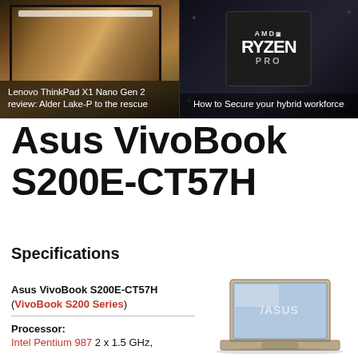[Figure (photo): Two side-by-side thumbnail images: left shows a laptop with a cheetah on screen (Lenovo ThinkPad X1 Nano Gen 2 review: Alder Lake-P to the rescue), right shows an AMD Ryzen Pro chip (How to Secure your hybrid workforce)]
Asus VivoBook S200E-CT57H
Specifications
Asus VivoBook S200E-CT57H (VivoBook S200 Series)
Processor: Intel Pentium 987 2 x 1.5 GHz,
[Figure (photo): Photo of Asus VivoBook laptop showing open lid with ASUS logo on screen]